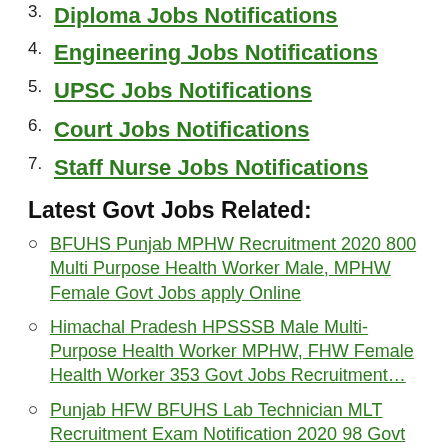3. Diploma Jobs Notifications
4. Engineering Jobs Notifications
5. UPSC Jobs Notifications
6. Court Jobs Notifications
7. Staff Nurse Jobs Notifications
Latest Govt Jobs Related:
BFUHS Punjab MPHW Recruitment 2020 800 Multi Purpose Health Worker Male, MPHW Female Govt Jobs apply Online
Himachal Pradesh HPSSSB Male Multi-Purpose Health Worker MPHW, FHW Female Health Worker 353 Govt Jobs Recruitment…
Punjab HFW BFUHS Lab Technician MLT Recruitment Exam Notification 2020 98 Govt Jobs Online